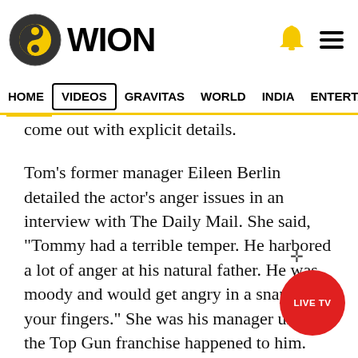[Figure (logo): WION news website logo with circular icon and WION text, bell icon and hamburger menu on the right]
HOME  VIDEOS  GRAVITAS  WORLD  INDIA  ENTERTAINMENT  SPORTS
come out with explicit details.
Tom’s former manager Eileen Berlin detailed the actor’s anger issues in an interview with The Daily Mail. She said, “Tommy had a terrible temper. He harbored a lot of anger at his natural father. He was moody and would get angry in a snap of your fingers.” She was his manager until the Top Gun franchise happened to him.
She further said, “‘It was like something smoldering, and it would boil up and explode. I put it down to his insecurity. I presented him